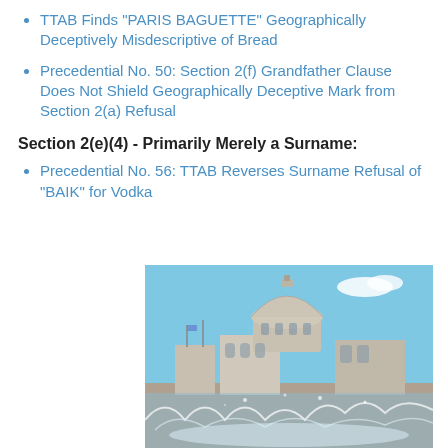TTAB Finds "PARIS BAGUETTE" Geographically Deceptively Misdescriptive of Bread
Precedential No. 50: Section 2(f) Grandfather Clause Does Not Shield Geographically Deceptive Mark from Section 2(a) Refusal
Section 2(e)(4) - Primarily Merely a Surname:
Precedential No. 56: TTAB Reverses Surname Refusal of "BAIK" for Vodka
[Figure (photo): Photograph of a classical domed building (cathedral or government building) with a large stone dome against a blue sky, with a water fountain or splash visible in the foreground.]